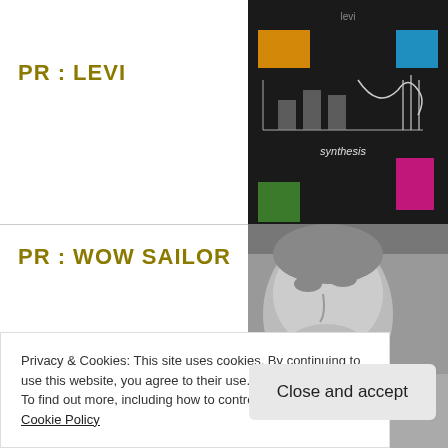PR : LEVI
[Figure (illustration): Album cover for LEVI - synthesis, dark background with colored rectangles (orange, blue, magenta, green) and abstract geometric/musical instrument diagrams]
PR : WOW SAILOR
[Figure (photo): Black and white close-up photo of a person's face looking upward]
Privacy & Cookies: This site uses cookies. By continuing to use this website, you agree to their use.
To find out more, including how to control cookies, see here: Cookie Policy
P